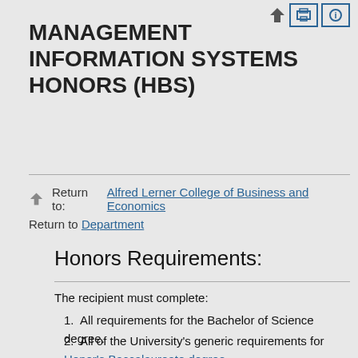MANAGEMENT INFORMATION SYSTEMS HONORS (HBS)
Return to: Alfred Lerner College of Business and Economics
Return to Department
Honors Requirements:
The recipient must complete:
All requirements for the Bachelor of Science degree.
All of the University's generic requirements for Honor's Baccalaureate degree.
The Honors credits in the major will normally include MISY 160 and MISY 225. They may include required courses from the department in the Alfred Lerner College of Business...